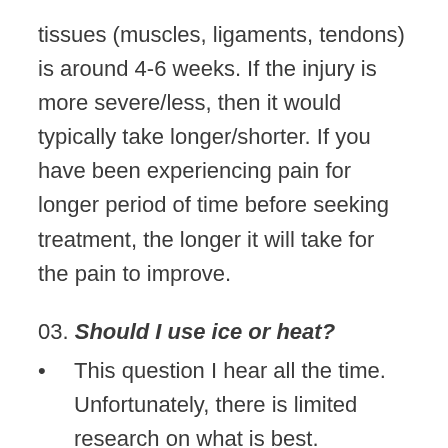tissues (muscles, ligaments, tendons) is around 4-6 weeks. If the injury is more severe/less, then it would typically take longer/shorter. If you have been experiencing pain for longer period of time before seeking treatment, the longer it will take for the pain to improve.
03. Should I use ice or heat?
This question I hear all the time. Unfortunately, there is limited research on what is best. Generally